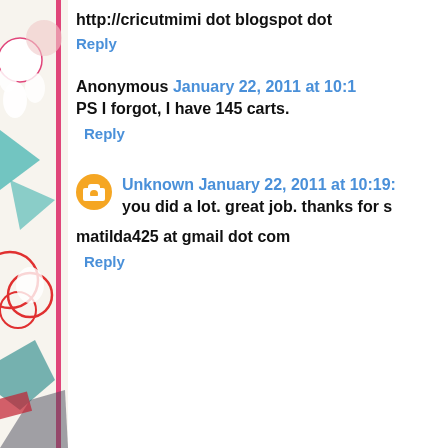http://cricutmimi dot blogspot dot
Reply
Anonymous January 22, 2011 at 10:1
PS I forgot, I have 145 carts.
Reply
Unknown January 22, 2011 at 10:19:
you did a lot. great job. thanks for s
matilda425 at gmail dot com
Reply